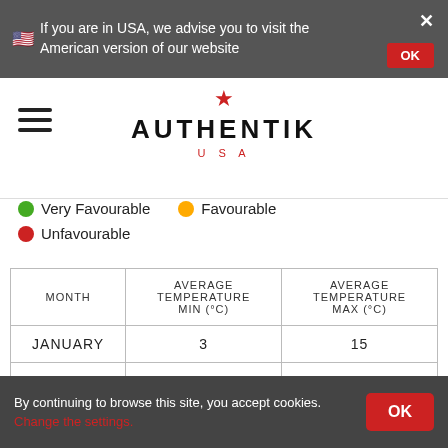🇺🇸 If you are in USA, we advise you to visit the American version of our website
[Figure (logo): Authentik USA logo with red star above the brand name]
● Very Favourable  ● Favourable  ● Unfavourable
| MONTH | AVERAGE TEMPERATURE MIN (°C) | AVERAGE TEMPERATURE MAX (°C) |
| --- | --- | --- |
| JANUARY | 3 | 15 |
| FEBRUARY | 5 | 17 |
By continuing to browse this site, you accept cookies. Change the settings.